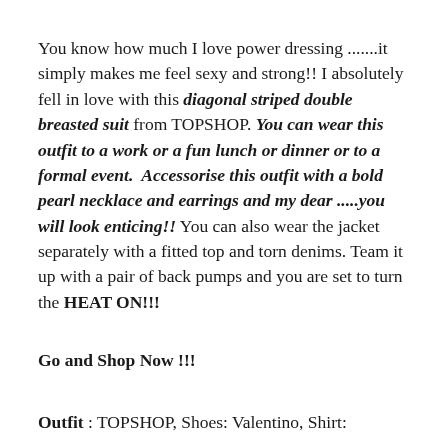You know how much I love power dressing .......it simply makes me feel sexy and strong!! I absolutely fell in love with this diagonal striped double breasted suit from TOPSHOP. You can wear this outfit to a work or a fun lunch or dinner or to a formal event. Accessorise this outfit with a bold pearl necklace and earrings and my dear .....you will look enticing!! You can also wear the jacket separately with a fitted top and torn denims. Team it up with a pair of back pumps and you are set to turn the HEAT ON!!!
Go and Shop Now !!!
Outfit : TOPSHOP, Shoes: Valentino, Shirt: